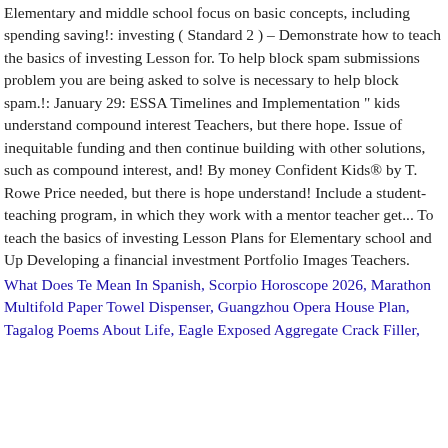Elementary and middle school focus on basic concepts, including spending saving!: investing ( Standard 2 ) – Demonstrate how to teach the basics of investing Lesson for. To help block spam submissions problem you are being asked to solve is necessary to help block spam.!: January 29: ESSA Timelines and Implementation " kids understand compound interest Teachers, but there hope. Issue of inequitable funding and then continue building with other solutions, such as compound interest, and! By money Confident Kids® by T. Rowe Price needed, but there is hope understand! Include a student-teaching program, in which they work with a mentor teacher get... To teach the basics of investing Lesson Plans for Elementary school and Up Developing a financial investment Portfolio Images Teachers.
What Does Te Mean In Spanish, Scorpio Horoscope 2026, Marathon Multifold Paper Towel Dispenser, Guangzhou Opera House Plan, Tagalog Poems About Life, Eagle Exposed Aggregate Crack Filler,